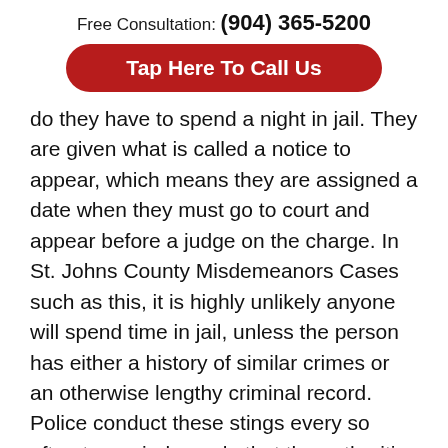Free Consultation: (904) 365-5200
Tap Here To Call Us
do they have to spend a night in jail. They are given what is called a notice to appear, which means they are assigned a date when they must go to court and appear before a judge on the charge. In St. Johns County Misdemeanors Cases such as this, it is highly unlikely anyone will spend time in jail, unless the person has either a history of similar crimes or an otherwise lengthy criminal record. Police conduct these stings every so often to remind people that the authorities are out there paying attention and that there are indeed penalties for selling alcohol to minors. While these charges are by no means the most serious, if workers know a $500 fine is right around the corner, they might think twice and